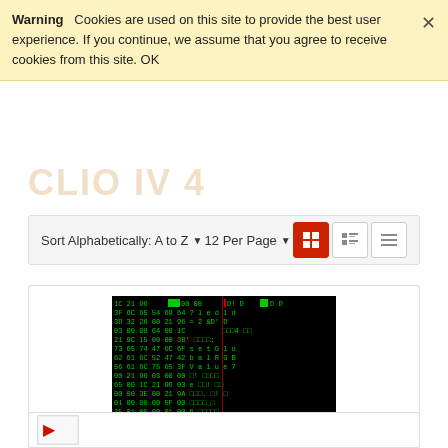Warning   Cookies are used on this site to provide the best user experience. If you continue, we assume that you agree to receive cookies from this site. OK
CLIO IV 4
Sort Alphabetically: A to Z   12 Per Page
[Figure (screenshot): Hex dump / binary data viewer showing green-on-black hex and ASCII text, resembling ECU or automotive binary data]
CLEARED CRASH - RENAULT CLIO 4 CONTINENTA...
€30.00